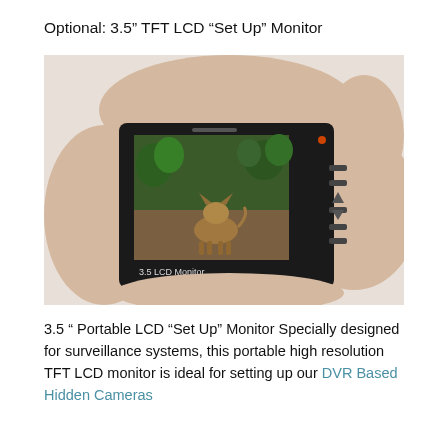Optional: 3.5" TFT LCD “Set Up” Monitor
[Figure (photo): A hand holding a small black 3.5 LCD Monitor displaying an image of a small dog (Chihuahua) outdoors on a dirt path with green foliage in the background. The monitor has several control buttons on the right side.]
3.5 ” Portable LCD “Set Up” Monitor Specially designed for surveillance systems, this portable high resolution TFT LCD monitor is ideal for setting up our DVR Based Hidden Cameras